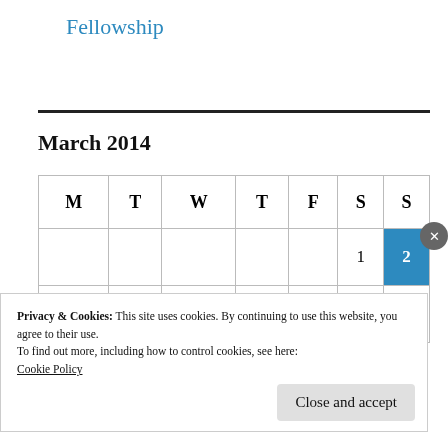Fellowship
| M | T | W | T | F | S | S |
| --- | --- | --- | --- | --- | --- | --- |
|  |  |  |  |  | 1 | 2 |
| 3 | 4 | 5 | 6 | 7 | 8 | 9 |
Privacy & Cookies: This site uses cookies. By continuing to use this website, you agree to their use.
To find out more, including how to control cookies, see here:
Cookie Policy
Close and accept